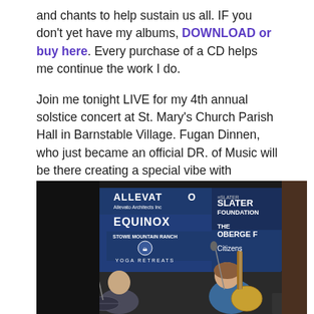and chants to help sustain us all. IF you don't yet have my albums, DOWNLOAD or buy here. Every purchase of a CD helps me continue the work I do.
Join me tonight LIVE for my 4th annual solstice concert at St. Mary's Church Parish Hall in Barnstable Village. Fugan Dinnen, who just became an official DR. of Music will be there creating a special vibe with percussion. 7:30.
[Figure (photo): Two musicians performing on stage. A bald man playing drums sits on the left, and a woman playing acoustic guitar sits on the right. Behind them is a blue banner showing sponsor logos: ALLEVATO (Allevato Architects Inc), EQUINOX, STOWE MOUNTAIN RANCH YOGA RETREATS, THE SLATER FOUNDATION, THE OBERGE F..., Citizens...]